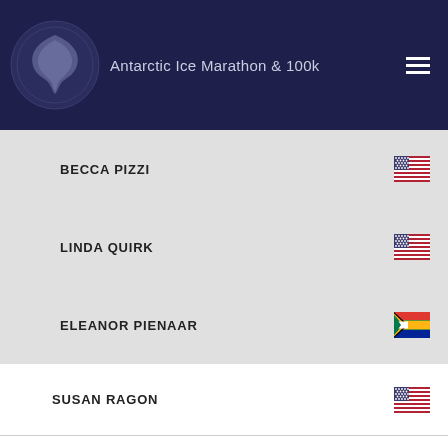Antarctic Ice Marathon & 100k
BECCA PIZZI
LINDA QUIRK
ELEANOR PIENAAR
SUSAN RAGON
MOLENE SCHEEPERS
JUDY SCRINE
NOELLE SHERIDAN
SIGNE SIMONSEN
SASIE SMITTIPATANA
JENNIFER SOLOMON
SARAH STEER